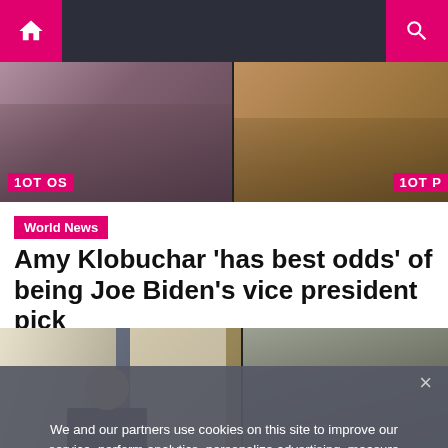[Figure (screenshot): Website navigation bar with home icon, hamburger menu, and search icon on dark background]
[Figure (photo): Top image strip showing two side-by-side photos with pink/magenta badges reading '1OT OS' and '1OT P']
World News
Amy Klobuchar 'has best odds' of being Joe Biden's vice president pick
[Figure (photo): Two side-by-side photos: left shows a man in suit with Argentinian flags, right shows people outdoors in overcast weather]
We and our partners use cookies on this site to improve our service, perform analytics, personalize advertising, measure advertising performance, and remember website preferences.
Ok